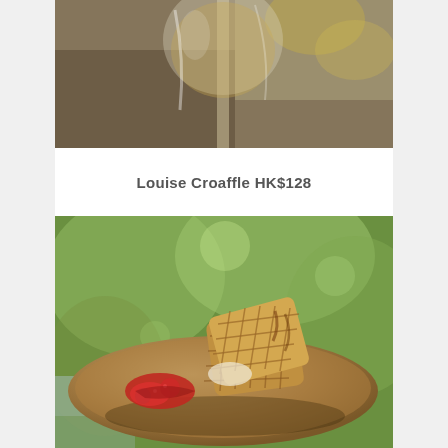[Figure (photo): Close-up photograph of a glass of champagne or white wine with blurred background showing autumn foliage]
Louise Croaffle HK$128
[Figure (photo): Photograph of a waffle with strawberries on a wooden plate, with blurred green garden background]